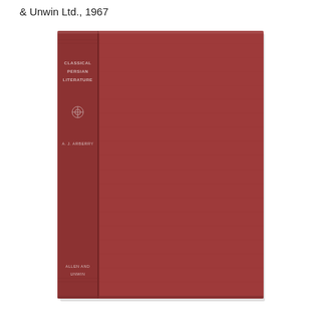& Unwin Ltd., 1967
[Figure (photo): Photograph of a hardcover book titled 'Classical Persian Literature' by A. J. Arberry, published by Allen and Unwin. The book cover is dark red/maroon cloth. The spine shows the title 'CLASSICAL PERSIAN LITERATURE', a decorative emblem, the author 'A. J. ARBERRY', and at the bottom 'ALLEN AND UNWIN'. The front cover is plain dark red cloth with a faint texture.]